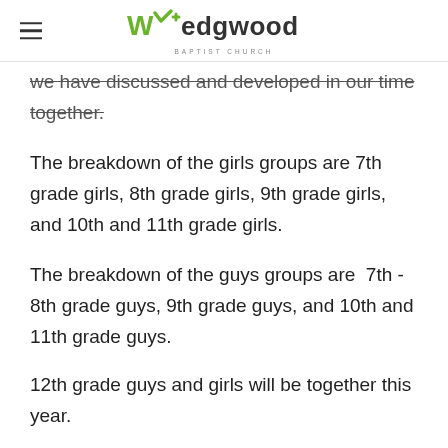Wedgwood Baptist Church
we have discussed and developed in our time together.
The breakdown of the girls groups are 7th grade girls, 8th grade girls, 9th grade girls, and 10th and 11th grade girls.
The breakdown of the guys groups are  7th - 8th grade guys, 9th grade guys, and 10th and 11th grade guys.
12th grade guys and girls will be together this year.